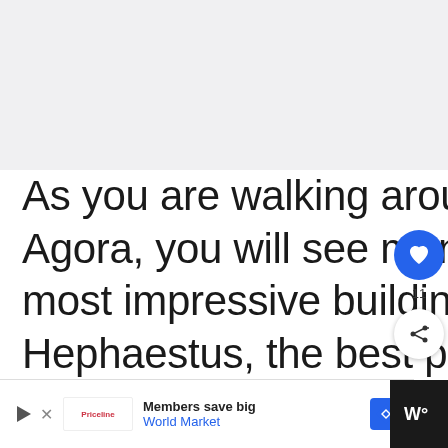[Figure (photo): Light grey blank area at top of page (image placeholder)]
As you are walking around the Ancient Agora, you will see many ancient ruins. The most impressive building is the temple of Hephaestus, the best preserved ancient temple in the whole of Greece
[Figure (infographic): Social sidebar with heart/like button (blue circle, count 11) and share button (white circle with share icon)]
[Figure (infographic): What's Next banner: thumbnail image of person, label 'WHAT'S NEXT →', text '15 Free things to do in...']
[Figure (infographic): Bottom advertisement bar: play button, Priceline logo, 'Members save big / World Market', blue navigation diamond icon, dark right panel with TV/streaming icon]